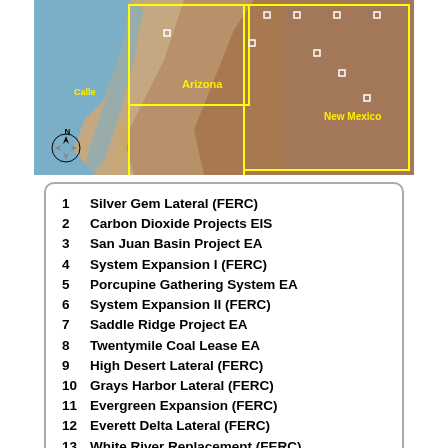[Figure (map): Satellite/terrain map of the American Southwest (California, Arizona, Nevada, New Mexico area) with yellow boundary lines marking regions and small square markers indicating project locations. Compass rose visible in lower left of map.]
1  Silver Gem Lateral (FERC)
2  Carbon Dioxide Projects EIS
3  San Juan Basin Project EA
4  System Expansion I (FERC)
5  Porcupine Gathering System EA
6  System Expansion II (FERC)
7  Saddle Ridge Project EA
8  Twentymile Coal Lease EA
9  High Desert Lateral (FERC)
10  Grays Harbor Lateral (FERC)
11  Evergreen Expansion (FERC)
12  Everett Delta Lateral (FERC)
13  White River Replacement (FERC)
14  Paiute System Expansion (FERC)
15  Manzanares Project EA
16  Piceance Lateral Replacement (FERC)
17  Burley Field Project EIS